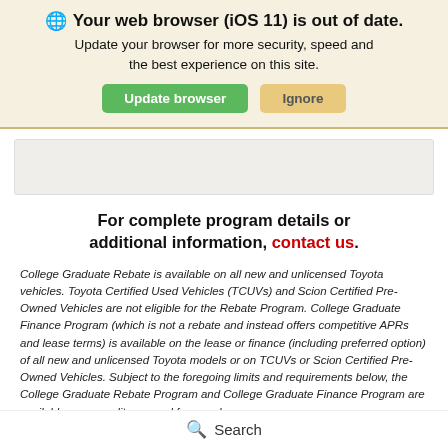🌐 Your web browser (iOS 11) is out of date.
Update your browser for more security, speed and the best experience on this site.
Update browser | Ignore
For complete program details or additional information, contact us.
College Graduate Rebate is available on all new and unlicensed Toyota vehicles. Toyota Certified Used Vehicles (TCUVs) and Scion Certified Pre-Owned Vehicles are not eligible for the Rebate Program. College Graduate Finance Program (which is not a rebate and instead offers competitive APRs and lease terms) is available on the lease or finance (including preferred option) of all new and unlicensed Toyota models or on TCUVs or Scion Certified Pre-Owned Vehicles. Subject to the foregoing limits and requirements below, the College Graduate Rebate Program and College Graduate Finance Program are available upon credit approval from and
Search